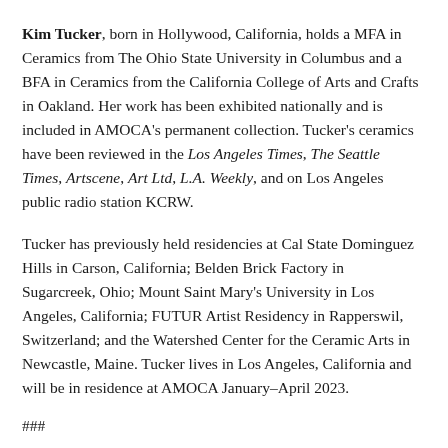Kim Tucker, born in Hollywood, California, holds a MFA in Ceramics from The Ohio State University in Columbus and a BFA in Ceramics from the California College of Arts and Crafts in Oakland. Her work has been exhibited nationally and is included in AMOCA's permanent collection. Tucker's ceramics have been reviewed in the Los Angeles Times, The Seattle Times, Artscene, Art Ltd, L.A. Weekly, and on Los Angeles public radio station KCRW.
Tucker has previously held residencies at Cal State Dominguez Hills in Carson, California; Belden Brick Factory in Sugarcreek, Ohio; Mount Saint Mary's University in Los Angeles, California; FUTUR Artist Residency in Rapperswil, Switzerland; and the Watershed Center for the Ceramic Arts in Newcastle, Maine. Tucker lives in Los Angeles, California and will be in residence at AMOCA January–April 2023.
###